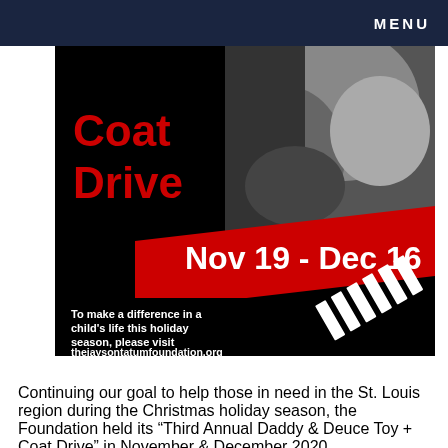MENU
[Figure (photo): Promotional image for the Daddy & Deuce Coat Drive. Black background with red text reading 'Coat Drive' on the left, a black and white photo of a father kissing a young child on the right, a red diagonal banner reading 'Nov 19 - Dec 16' in white bold text, and white text at the bottom reading 'To make a difference in a child's life this holiday season, please visit thejaysontatumfoundation.org' with diagonal white stripe decorations on the right.]
Continuing our goal to help those in need in the St. Louis region during the Christmas holiday season, the Foundation held its “Third Annual Daddy & Deuce Toy + Coat Drive” in November & December 2020.